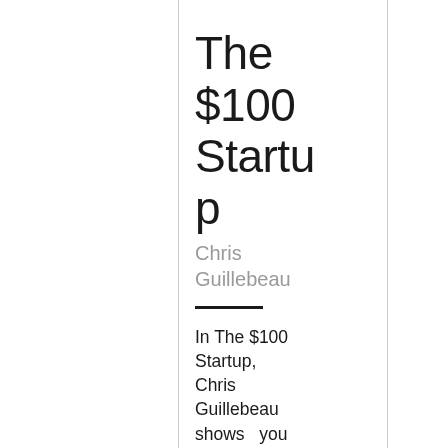The $100 Startup
Chris Guillebeau
In The $100 Startup, Chris Guillebeau shows you how to lead of life of